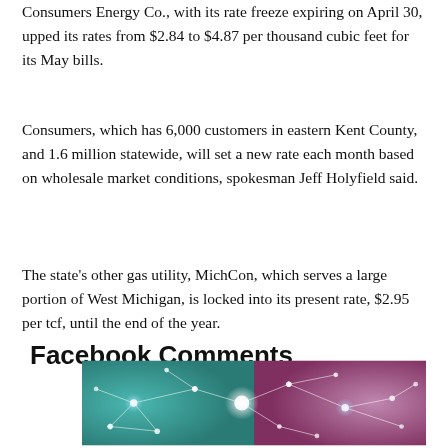Consumers Energy Co., with its rate freeze expiring on April 30, upped its rates from $2.84 to $4.87 per thousand cubic feet for its May bills.
Consumers, which has 6,000 customers in eastern Kent County, and 1.6 million statewide, will set a new rate each month based on wholesale market conditions, spokesman Jeff Holyfield said.
The state's other gas utility, MichCon, which serves a large portion of West Michigan, is locked into its present rate, $2.95 per tcf, until the end of the year.
Facebook Comments
[Figure (illustration): Abstract network visualization with glowing nodes connected by lines on a teal and purple gradient background.]